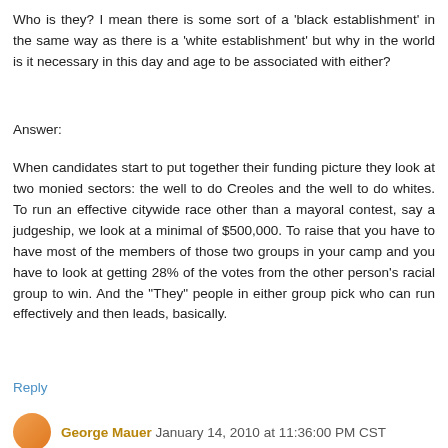Who is they? I mean there is some sort of a 'black establishment' in the same way as there is a 'white establishment' but why in the world is it necessary in this day and age to be associated with either?
Answer:
When candidates start to put together their funding picture they look at two monied sectors: the well to do Creoles and the well to do whites. To run an effective citywide race other than a mayoral contest, say a judgeship, we look at a minimal of $500,000. To raise that you have to have most of the members of those two groups in your camp and you have to look at getting 28% of the votes from the other person's racial group to win. And the "They" people in either group pick who can run effectively and then leads, basically.
Reply
George Mauer January 14, 2010 at 11:36:00 PM CST